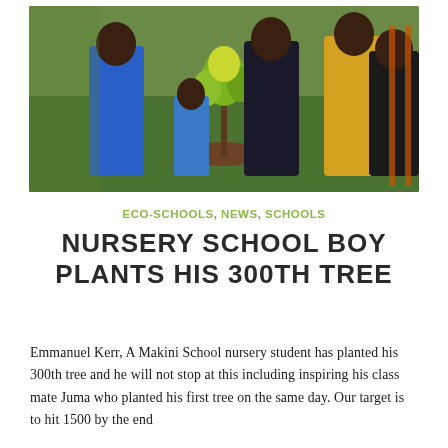[Figure (photo): Group of people including adults and a young child standing around a small tree sapling planted in the ground on a grassy area. People are wearing blue and dark clothing.]
ECO-SCHOOLS, NEWS, SCHOOLS
NURSERY SCHOOL BOY PLANTS HIS 300TH TREE
Emmanuel Kerr, A Makini School nursery student has planted his 300th tree and he will not stop at this including inspiring his class mate Juma who planted his first tree on the same day. Our target is to hit 1500 by the end